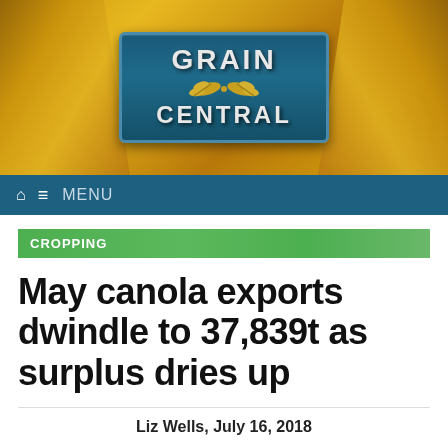[Figure (logo): Grain Central website header banner with logo on dark blue background, wheat stalks on golden background]
MENU
CROPPING
May canola exports dwindle to 37,839t as surplus dries up
Liz Wells, July 16, 2018